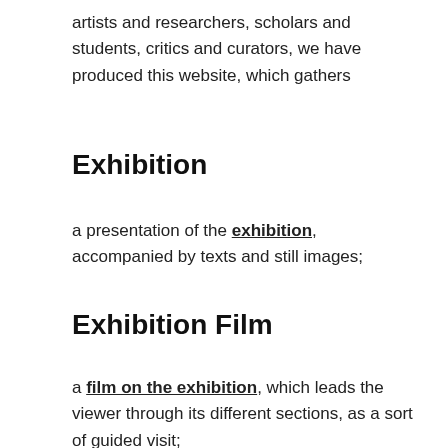artists and researchers, scholars and students, critics and curators, we have produced this website, which gathers
Exhibition
a presentation of the exhibition, accompanied by texts and still images;
Exhibition Film
a film on the exhibition, which leads the viewer through its different sections, as a sort of guided visit;